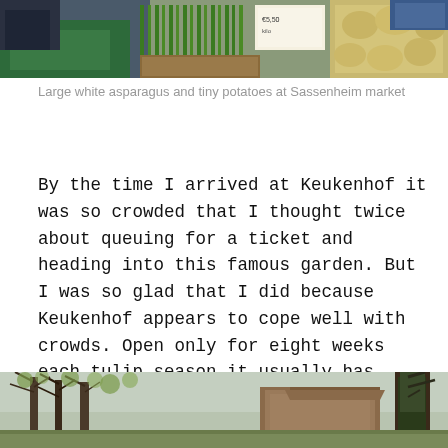[Figure (photo): Top portion of a market stall image showing green onions/vegetables, a price sign, and light-colored produce (potatoes or similar) in crates/boxes]
Large white asparagus and tiny potatoes at Sassenheim market
By the time I arrived at Keukenhof it was so crowded that I thought twice about queuing for a ticket and heading into this famous garden. But I was so glad that I did because Keukenhof appears to cope well with crowds. Open only for eight weeks each tulip season it usually has close to a million visitors each season. With seven million tulip bulbs planted it is a feast for the eyes.
[Figure (photo): Bottom portion showing a landscape with bare trees with early spring foliage and a building visible in the background, likely Keukenhof gardens]